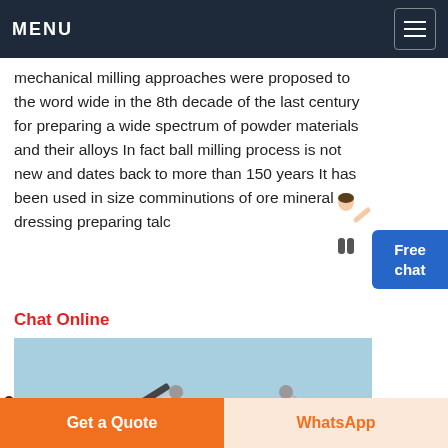MENU
mechanical milling approaches were proposed to the word wide in the 8th decade of the last century for preparing a wide spectrum of powder materials and their alloys In fact ball milling process is not new and dates back to more than 150 years It has been used in size comminutions of ore mineral dressing preparing talc
Chat Online
[Figure (photo): Outdoor mining/crushing plant equipment with conveyor belts and aggregate piles on an open site.]